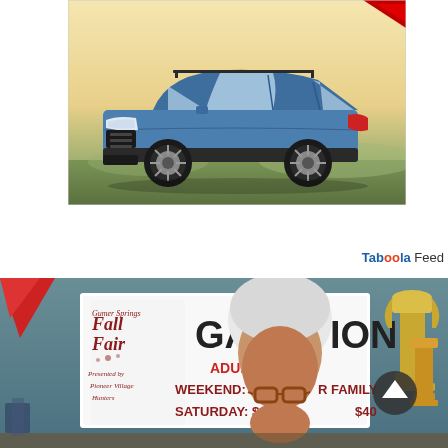[Figure (photo): A blue Subaru XV/Crosstrek crossover SUV parked outdoors at sunset/dusk, side profile view, against a warm golden-sky background with a distant landscape.]
Taboola Feed
[Figure (photo): A woman with white/grey hair and glasses standing in front of a Fall Fair sign showing admission prices: ADULT WEEKEND: $15, R FAMILY $40, SATURDAY: $10. There is a trophy visible on the right side and a red triangular object on the left. Background is a teal/grey room.]